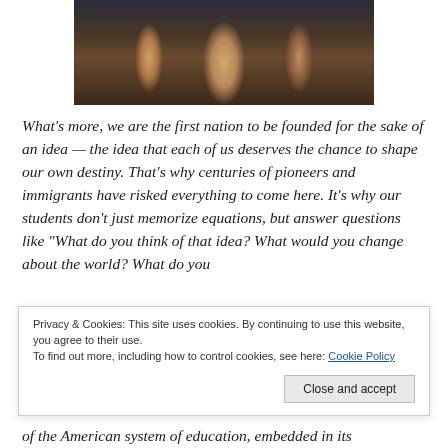[Figure (photo): A man in a dark suit speaking at a podium with microphones, flanked by two other people, in what appears to be an official government setting.]
What's more, we are the first nation to be founded for the sake of an idea — the idea that each of us deserves the chance to shape our own destiny. That's why centuries of pioneers and immigrants have risked everything to come here. It's why our students don't just memorize equations, but answer questions like “What do you think of that idea? What would you change about the world? What do you
Privacy & Cookies: This site uses cookies. By continuing to use this website, you agree to their use.
To find out more, including how to control cookies, see here: Cookie Policy
of the American system of education, embedded in its